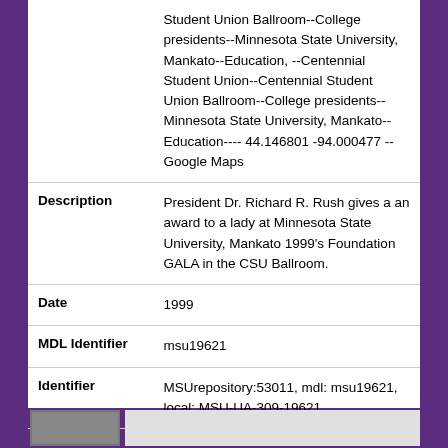| Field | Value |
| --- | --- |
|  | Student Union Ballroom--College presidents--Minnesota State University, Mankato--Education, --Centennial Student Union--Centennial Student Union Ballroom--College presidents--Minnesota State University, Mankato--Education---- 44.146801 -94.000477 -- Google Maps |
| Description | President Dr. Richard R. Rush gives a an award to a lady at Minnesota State University, Mankato 1999's Foundation GALA in the CSU Ballroom. |
| Date | 1999 |
| MDL Identifier | msu19621 |
| Identifier | MSUrepository:53011, mdl: msu19621, local: MSU-UA-309-19621 |
[Figure (photo): Small thumbnail photograph at bottom left of page, partially visible]